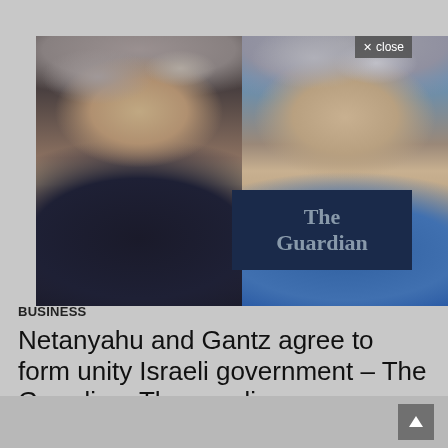[Figure (photo): Side-by-side photos of two men: on the left, Netanyahu in a dark suit with gray hair, close-up face shot in a dim setting; on the right, Gantz with gray hair against a blue background. A Guardian logo overlay appears in the bottom-right of the composite image. A 'close' button appears in the top-right corner.]
BUSINESS
Netanyahu and Gantz agree to form unity Israeli government – The Guardian, Theguardian.com